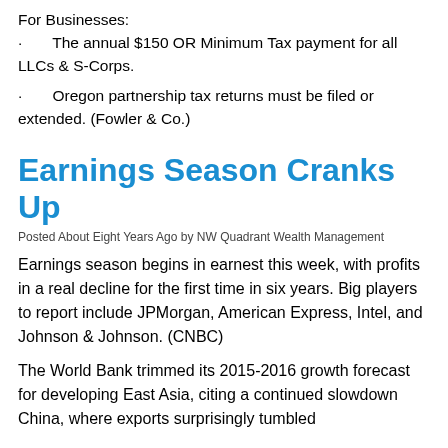For Businesses:
· The annual $150 OR Minimum Tax payment for all LLCs & S-Corps.
· Oregon partnership tax returns must be filed or extended. (Fowler & Co.)
Earnings Season Cranks Up
Posted About Eight Years Ago by NW Quadrant Wealth Management
Earnings season begins in earnest this week, with profits in a real decline for the first time in six years. Big players to report include JPMorgan, American Express, Intel, and Johnson & Johnson. (CNBC)
The World Bank trimmed its 2015-2016 growth forecast for developing East Asia, citing a continued slowdown China, where exports surprisingly tumbled